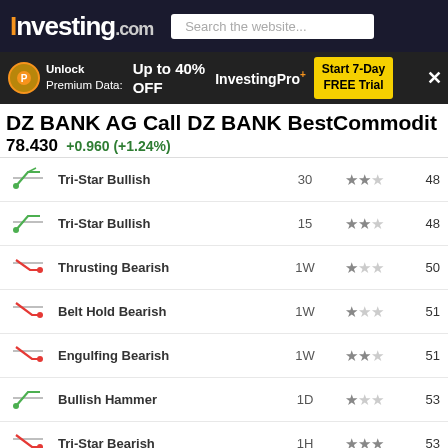Investing.com | Search the website...
Unlock Premium Data: Up to 40% OFF | InvestingPro+ | Start 7-Day FREE Trial
DZ BANK AG Call DZ BANK BestCommodit
78.430 +0.960 (+1.24%)
| Icon | Pattern | Period | Stars | Value |
| --- | --- | --- | --- | --- |
| ↗ (bullish) | Tri-Star Bullish | 30 | ★★☆ | 48 |
| ↗ (bullish) | Tri-Star Bullish | 15 | ★★☆ | 48 |
| ↘ (bearish) | Thrusting Bearish | 1W | ★☆☆ | 50 |
| ↘ (bearish) | Belt Hold Bearish | 1W | ★☆☆ | 51 |
| ↘ (bearish) | Engulfing Bearish | 1W | ★★☆ | 51 |
| ↗ (bullish) | Bullish Hammer | 1D | ★☆☆ | 53 |
| ↘ (bearish) | Tri-Star Bearish | 1H | ★★★ | 53 |
| ↘ (bearish) | Tri-Star Bearish | 30 | ★★★ | 53 |
| ↘ (bearish) | Tri-Star Bearish | 15 | ★★★ | 53 |
| ↘ (bearish) | Engulfing Bearish | 1W | ★★☆ | 57 |
| ↘ (bearish) | Harami Cross Bearish | 5H | ★☆☆ | 57 |
| ↘ (bearish) | Tri-Star B... |  |  |  |
| ↘ (bearish) | Tri-Star B... |  |  |  |
DEDZ2X4B Comments